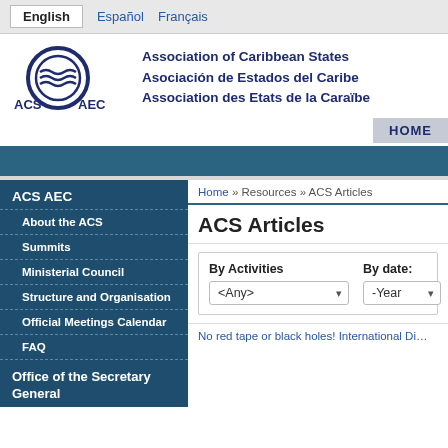English | Español | Français
[Figure (logo): ACS AEC circular logo with wave motif]
Association of Caribbean States
Asociación de Estados del Caribe
Association des Etats de la Caraïbe
HOME
ACS AEC
About the ACS
Summits
Ministerial Council
Structure and Organisation
Official Meetings Calendar
FAQ
Office of the Secretary General
Home » Resources » ACS Articles
ACS Articles
By Activities
<Any>
By date:
-Year
No red tape or black holes! International Di…